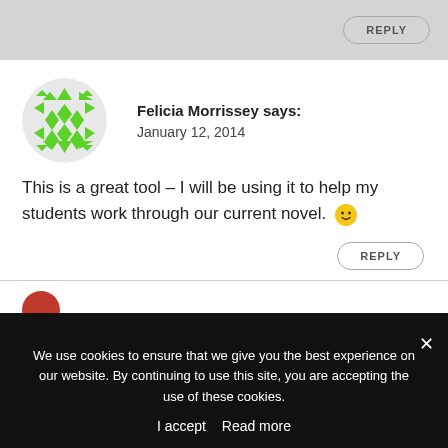[Figure (screenshot): Top gray bar with a REPLY button (rounded pill shape) aligned to the right]
[Figure (illustration): Green geometric patterned circular avatar for Felicia Morrissey]
Felicia Morrissey says: January 12, 2014
This is a great tool – I will be using it to help my students work through our current novel. 🙂
REPLY
We use cookies to ensure that we give you the best experience on our website. By continuing to use this site, you are accepting the use of these cookies.
I accept   Read more